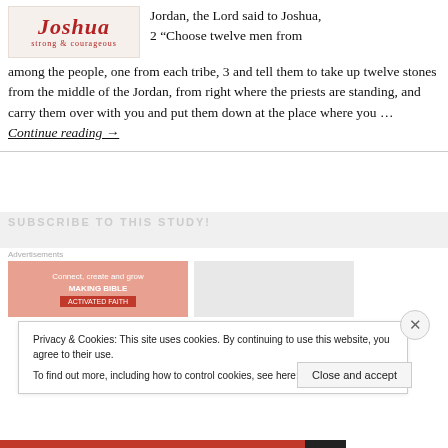[Figure (logo): Joshua Bible study logo with cursive red text and tagline 'strong & courageous']
Jordan, the Lord said to Joshua, 2 “Choose twelve men from among the people, one from each tribe, 3 and tell them to take up twelve stones from the middle of the Jordan, from right where the priests are standing, and carry them over with you and put them down at the place where you … Continue reading →
Privacy & Cookies: This site uses cookies. By continuing to use this website, you agree to their use.
To find out more, including how to control cookies, see here: Cookie Policy